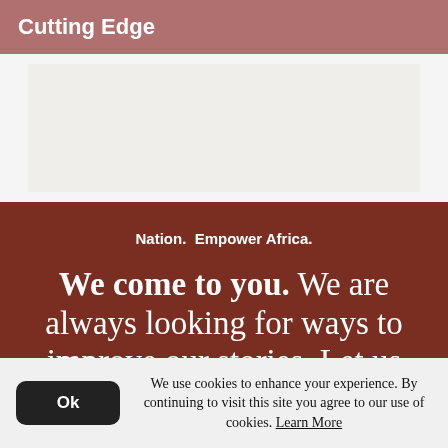Cutting Edge
[Figure (other): Light beige/grey placeholder image area]
Nation.  Empower Africa.
We come to you. We are always looking for ways to improve our stories. Let us know what you liked and what we can improve
We use cookies to enhance your experience. By continuing to visit this site you agree to our use of cookies. Learn More